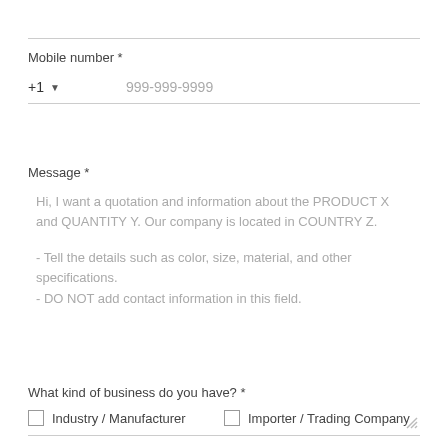Mobile number *
+1  999-999-9999
Message *
Hi, I want a quotation and information about the PRODUCT X and QUANTITY Y. Our company is located in COUNTRY Z.

- Tell the details such as color, size, material, and other specifications.
- DO NOT add contact information in this field.
What kind of business do you have? *
Industry / Manufacturer
Importer / Trading Company